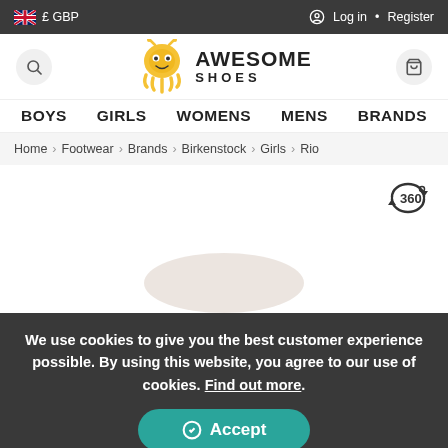£ GBP  Log in • Register
[Figure (logo): Awesome Shoes logo with yellow octopus mascot]
BOYS  GIRLS  WOMENS  MENS  BRANDS
Home > Footwear > Brands > Birkenstock > Girls > Rio
[Figure (other): 360 degree product view icon]
We use cookies to give you the best customer experience possible. By using this website, you agree to our use of cookies. Find out more.
Accept